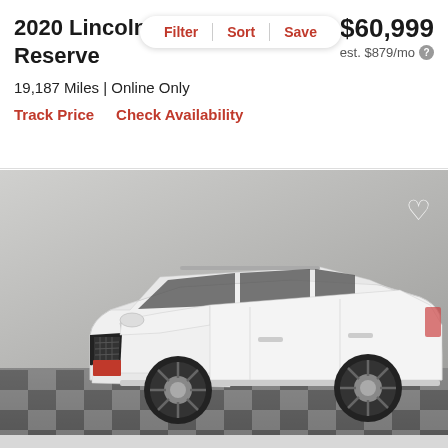2020 Lincoln Reserve
$60,999
est. $879/mo
Filter | Sort | Save
19,187 Miles | Online Only
Track Price   Check Availability
[Figure (photo): White 2020 Lincoln Aviator Reserve SUV parked in a dealer showroom with checkered black and white floor. Vehicle is shown from a front 3/4 angle. A heart/favorite icon is visible in the top right corner of the image.]